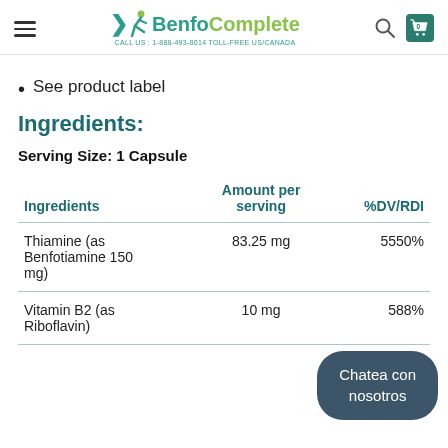BenfoComplete — CALL US: 1-888-493-8014 TOLL-FREE US/CANADA
See product label
Ingredients:
Serving Size: 1 Capsule
| Ingredients | Amount per serving | %DV/RDI |
| --- | --- | --- |
| Thiamine (as Benfotiamine 150 mg) | 83.25 mg | 5550% |
| Vitamin B2 (as Riboflavin) | 10 mg | 588% |